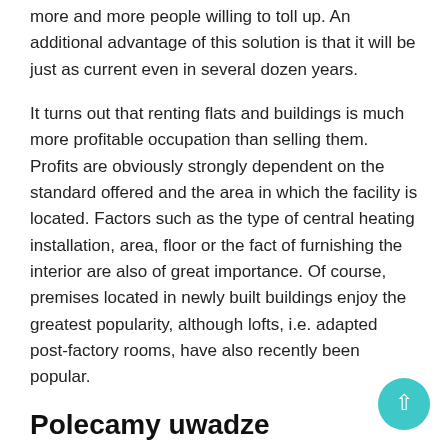more and more people willing to toll up. An additional advantage of this solution is that it will be just as current even in several dozen years.
It turns out that renting flats and buildings is much more profitable occupation than selling them. Profits are obviously strongly dependent on the standard offered and the area in which the facility is located. Factors such as the type of central heating installation, area, floor or the fact of furnishing the interior are also of great importance. Of course, premises located in newly built buildings enjoy the greatest popularity, although lofts, i.e. adapted post-factory rooms, have also recently been popular.
Polecamy uwadze
[Figure (photo): Black and white photograph of industrial pipes or structural metalwork viewed from below at an angle.]
Recuperation and heat pumps